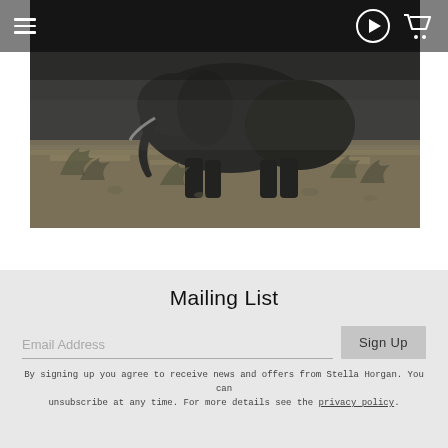[Figure (photo): Dark wildlife photograph showing an elephant and sparse dry bush landscape, muted tones of grey and brown]
Mailing List
Email Address
Sign Up
By signing up you agree to receive news and offers from Stella Horgan. You can unsubscribe at any time. For more details see the privacy policy.